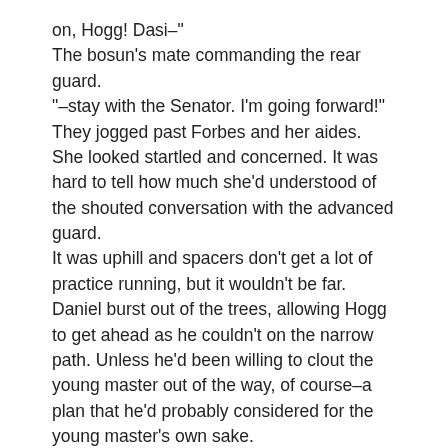on, Hogg! Dasi–"
The bosun's mate commanding the rear guard.
"–stay with the Senator. I'm going forward!"
They jogged past Forbes and her aides. She looked startled and concerned. It was hard to tell how much she'd understood of the shouted conversation with the advanced guard.
It was uphill and spacers don't get a lot of practice running, but it wouldn't be far. Daniel burst out of the trees, allowing Hogg to get ahead as he couldn't on the narrow path. Unless he'd been willing to clout the young master out of the way, of course–a plan that he'd probably considered for the young master's own sake.
1 Comment